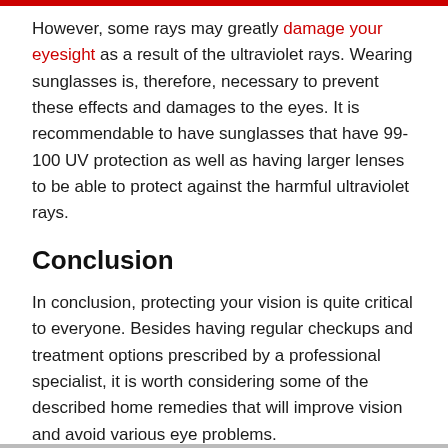However, some rays may greatly damage your eyesight as a result of the ultraviolet rays. Wearing sunglasses is, therefore, necessary to prevent these effects and damages to the eyes. It is recommendable to have sunglasses that have 99-100 UV protection as well as having larger lenses to be able to protect against the harmful ultraviolet rays.
Conclusion
In conclusion, protecting your vision is quite critical to everyone. Besides having regular checkups and treatment options prescribed by a professional specialist, it is worth considering some of the described home remedies that will improve vision and avoid various eye problems.